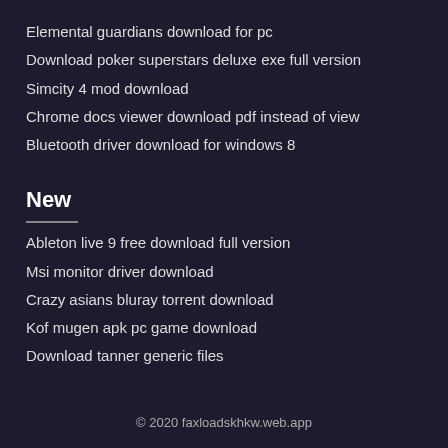Elemental guardians download for pc
Download poker superstars deluxe exe full version
Simcity 4 mod download
Chrome docs viewer download pdf instead of view
Bluetooth driver download for windows 8
New
Ableton live 9 free download full version
Msi monitor driver download
Crazy asians bluray torrent download
Kof mugen apk pc game download
Download tanner generic files
© 2020 faxloadskhkw.web.app